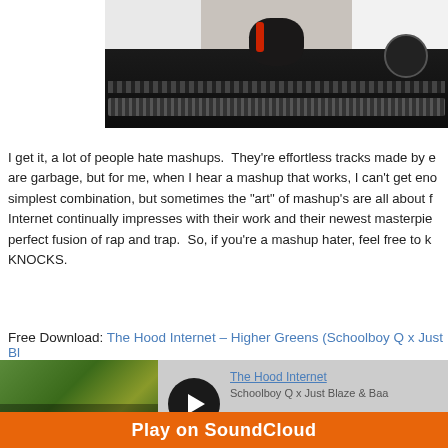[Figure (photo): Photo of a DJ at turntables/mixer equipment, people in white shirts visible, headphones on the equipment, shot from above/behind showing the mixing console]
I get it, a lot of people hate mashups. They're effortless tracks made by e... are garbage, but for me, when I hear a mashup that works, I can't get eno... simplest combination, but sometimes the "art" of mashup's are all about f... Internet continually impresses with their work and their newest masterpie... perfect fusion of rap and trap. So, if you're a mashup hater, feel free to k... KNOCKS.
Free Download: The Hood Internet – Higher Greens (Schoolboy Q x Just Bl...
[Figure (screenshot): SoundCloud embedded player widget showing The Hood Internet - Schoolboy Q x Just Blaze & Baa... track with play button, thumbnail image, and orange Play on SoundCloud bar]